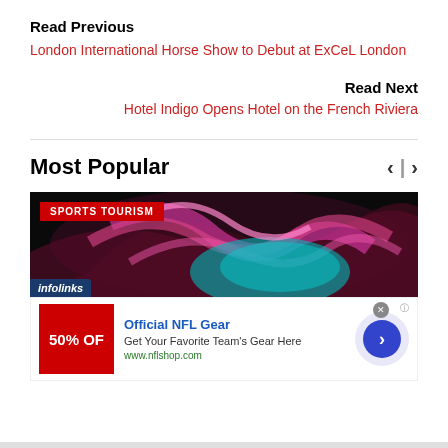Read Previous
London International Horse Show to Debut at ExCeL London
Read Next
Hotel Indigo Opens Hotel on the French Riviera
Most Popular
[Figure (photo): Sports Tourism banner image with abstract dark background and red SPORTS TOURISM label badge, infolinks watermark at bottom left]
[Figure (infographic): Advertisement: Official NFL Gear - 50% OFF banner ad with red background showing percentage off, blue title text, subtitle 'Get Your Favorite Team's Gear Here', URL www.nflshop.com, close button X, and blue circular arrow navigation button]